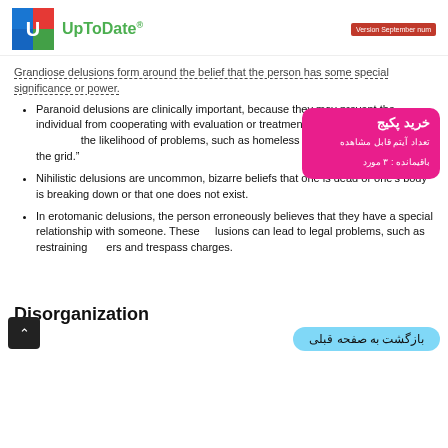UpToDate® — Version September num
Grandiose delusions form around the belief that the person has some special significance or power.
Paranoid delusions are clinically important, because they may prevent the individual from cooperating with evaluation or treatment, and because they may increase the likelihood of problems, such as homelessness if the person goes "off the grid."
Nihilistic delusions are uncommon, bizarre beliefs that one is dead or one's body is breaking down or that one does not exist.
In erotomanic delusions, the person erroneously believes that they have a special relationship with someone. These delusions can lead to legal problems, such as restraining orders and trespass charges.
Disorganization